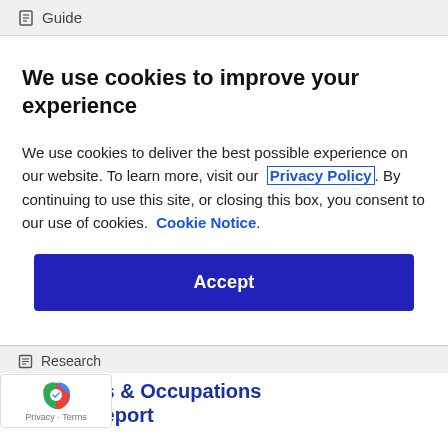Guide
We use cookies to improve your experience
We use cookies to deliver the best possible experience on our website. To learn more, visit our Privacy Policy. By continuing to use this site, or closing this box, you consent to our use of cookies. Cookie Notice.
Accept
Research
ales Skills & Occupations Trends Report